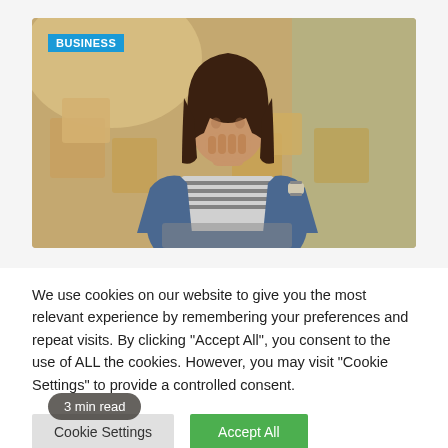[Figure (photo): A young woman with long dark hair sitting at a desk with cardboard boxes in the background, hands clasped together touching her nose in a stressed/thinking pose, wearing a denim jacket over a striped shirt with a watch on her wrist. A 'BUSINESS' label tag appears in the top left corner and a '3 min read' badge appears in the bottom left corner.]
We use cookies on our website to give you the most relevant experience by remembering your preferences and repeat visits. By clicking "Accept All", you consent to the use of ALL the cookies. However, you may visit "Cookie Settings" to provide a controlled consent.